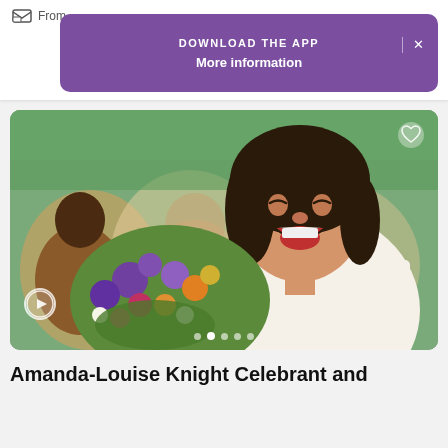From
DOWNLOAD THE APP
More information
[Figure (photo): A bride laughing joyfully while holding a colorful bouquet of flowers including purple, orange, pink, and white blooms. She is wearing a white lace wedding dress. People are blurred in the background.]
Amanda-Louise Knight Celebrant and